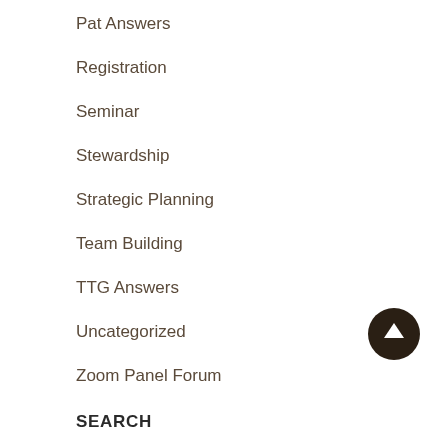Pat Answers
Registration
Seminar
Stewardship
Strategic Planning
Team Building
TTG Answers
Uncategorized
Zoom Panel Forum
SEARCH